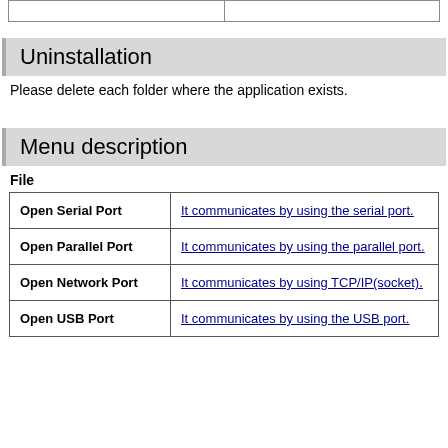|  |  |
| --- | --- |
|  |  |
Uninstallation
Please delete each folder where the application exists.
Menu description
File
| Open Serial Port | It communicates by using the serial port. |
| --- | --- |
| Open Parallel Port | It communicates by using the parallel port. |
| Open Network Port | It communicates by using TCP/IP(socket). |
| Open USB Port | It communicates by using the USB port. |